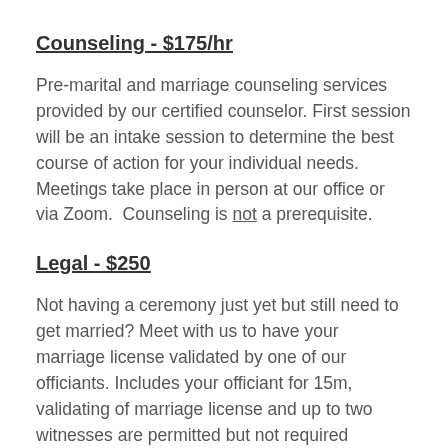Counseling - $175/hr
Pre-marital and marriage counseling services provided by our certified counselor. First session will be an intake session to determine the best course of action for your individual needs. Meetings take place in person at our office or via Zoom. Counseling is not a prerequisite.
Legal - $250
Not having a ceremony just yet but still need to get married? Meet with us to have your marriage license validated by one of our officiants. Includes your officiant for 15m, validating of marriage license and up to two witnesses are permitted but not required (witnesses required for self-uniting license). Legal package is hosted exclusively at our Southampton